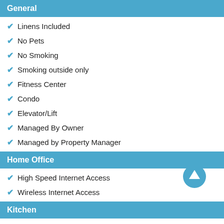General
Linens Included
No Pets
No Smoking
Smoking outside only
Fitness Center
Condo
Elevator/Lift
Managed By Owner
Managed by Property Manager
Home Office
High Speed Internet Access
Wireless Internet Access
Kitchen